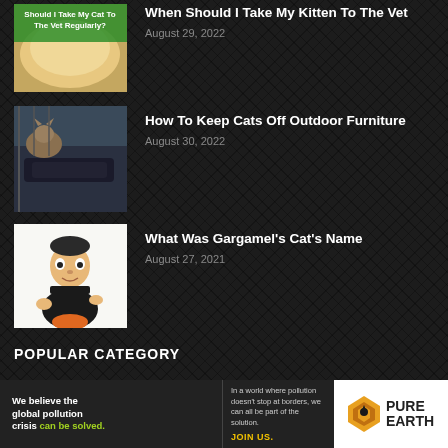[Figure (photo): Thumbnail of a cat with a green overlay text 'Should I Take My Cat To The Vet Regularly?']
When Should I Take My Kitten To The Vet
August 29, 2022
[Figure (photo): Thumbnail of a cat sitting on outdoor furniture/motorcycle seat]
How To Keep Cats Off Outdoor Furniture
August 30, 2022
[Figure (illustration): Cartoon illustration of Gargamel character from the Smurfs]
What Was Gargamel's Cat's Name
August 27, 2021
POPULAR CATEGORY
[Figure (infographic): Pure Earth advertisement banner: 'We believe the global pollution crisis can be solved.' with logo]